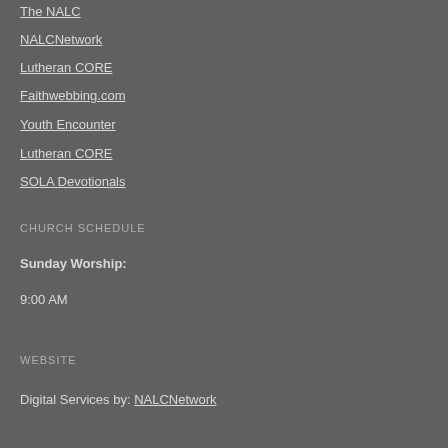The NALC
NALCNetwork
Lutheran CORE
Faithwebbing.com
Youth Encounter
Lutheran CORE
SOLA Devotionals
CHURCH SCHEDULE
Sunday Worship:
9:00 AM
WEBSITE
Digital Services by: NALCNetwork